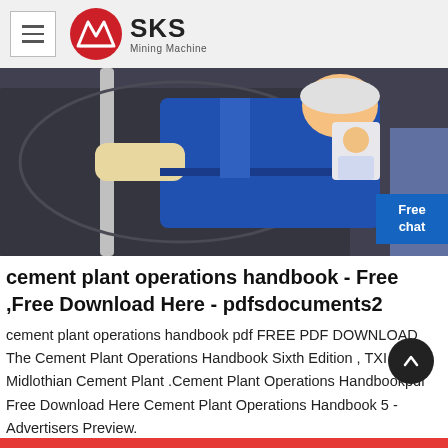SKS Mining Machine
[Figure (photo): Worker in blue uniform and hard hat operating machinery, using a metal rod inside industrial equipment]
cement plant operations handbook - Free ,Free Download Here - pdfsdocuments2
cement plant operations handbook pdf FREE PDF DOWNLOAD The Cement Plant Operations Handbook Sixth Edition , TXI Midlothian Cement Plant .Cement Plant Operations Handbookpdf Free Download Here Cement Plant Operations Handbook 5 - Advertisers Preview.